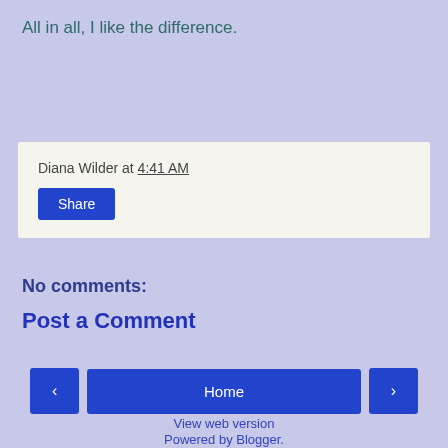All in all, I like the difference.
Diana Wilder at 4:41 AM
Share
No comments:
Post a Comment
Home
View web version
Powered by Blogger.